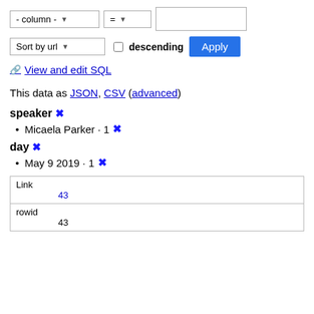- column - = [filter value input]
Sort by url   descending   Apply
📎 View and edit SQL
This data as JSON, CSV (advanced)
speaker ✖
Micaela Parker · 1 ✖
day ✖
May 9 2019 · 1 ✖
| Link | rowid |
| --- | --- |
| 43 | 43 |